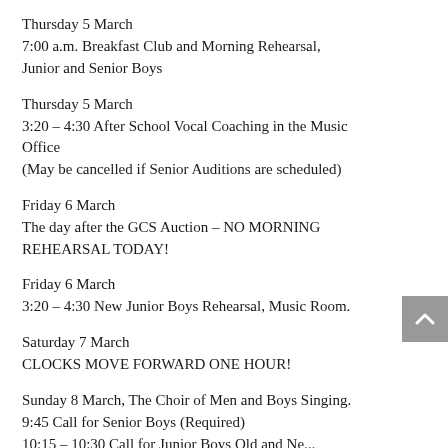Thursday 5 March
7:00 a.m. Breakfast Club and Morning Rehearsal, Junior and Senior Boys
Thursday 5 March
3:20 – 4:30 After School Vocal Coaching in the Music Office
(May be cancelled if Senior Auditions are scheduled)
Friday 6 March
The day after the GCS Auction – NO MORNING REHEARSAL TODAY!
Friday 6 March
3:20 – 4:30 New Junior Boys Rehearsal, Music Room.
Saturday 7 March
CLOCKS MOVE FORWARD ONE HOUR!
Sunday 8 March, The Choir of Men and Boys Singing.
9:45 Call for Senior Boys (Required)
10:15 – 10:30 Call for Junior Boys Old and Ne...